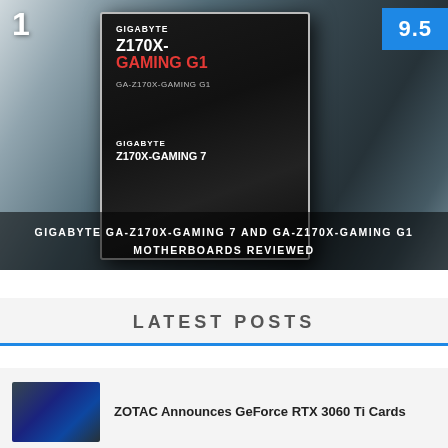[Figure (photo): Product photo of Gigabyte GA-Z170X-Gaming G1 motherboard box with rank number 1 badge and score badge 9.5]
GIGABYTE GA-Z170X-GAMING 7 AND GA-Z170X-GAMING G1 MOTHERBOARDS REVIEWED
LATEST POSTS
ZOTAC Announces GeForce RTX 3060 Ti Cards